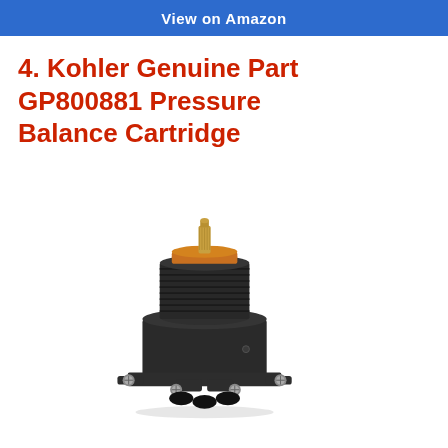[Figure (other): Blue 'View on Amazon' button at top of page]
4. Kohler Genuine Part GP800881 Pressure Balance Cartridge
[Figure (photo): Photo of Kohler GP800881 Pressure Balance Cartridge — a black plastic body with threaded collar, orange/brass top fitting, and four mounting screws at base with inlet/outlet ports.]